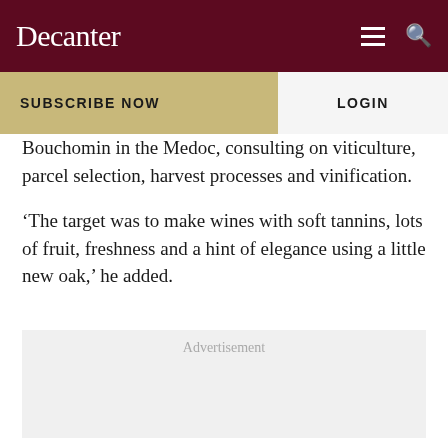Decanter
SUBSCRIBE NOW
LOGIN
Bouchomin in the Medoc, consulting on viticulture, parcel selection, harvest processes and vinification.
‘The target was to make wines with soft tannins, lots of fruit, freshness and a hint of elegance using a little new oak,’ he added.
Advertisement